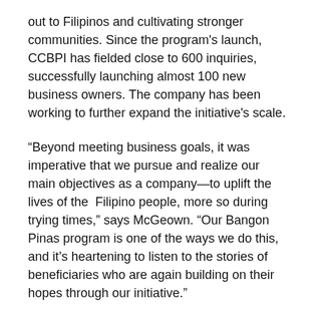out to Filipinos and cultivating stronger communities. Since the program's launch, CCBPI has fielded close to 600 inquiries, successfully launching almost 100 new business owners. The company has been working to further expand the initiative's scale.
“Beyond meeting business goals, it was imperative that we pursue and realize our main objectives as a company—to uplift the lives of the  Filipino people, more so during trying times,” says McGeown. “Our Bangon Pinas program is one of the ways we do this, and it’s heartening to listen to the stories of beneficiaries who are again building on their hopes through our initiative.”
CCBPI has always placed service at the very heart of Coca-Cola’s 109-year presence in the country. Filipinos have been granting Coca-Cola the privilege of being witness to both